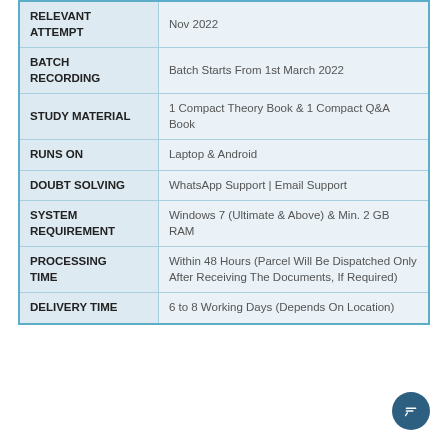| Field | Value |
| --- | --- |
| RELEVANT ATTEMPT | Nov 2022 |
| BATCH RECORDING | Batch Starts From 1st March 2022 |
| STUDY MATERIAL | 1 Compact Theory Book & 1 Compact Q&A Book |
| RUNS ON | Laptop & Android |
| DOUBT SOLVING | WhatsApp Support | Email Support |
| SYSTEM REQUIREMENT | Windows 7 (Ultimate & Above) & Min. 2 GB RAM |
| PROCESSING TIME | Within 48 Hours (Parcel Will Be Dispatched Only After Receiving The Documents, If Required) |
| DELIVERY TIME | 6 to 8 Working Days (Depends On Location) |